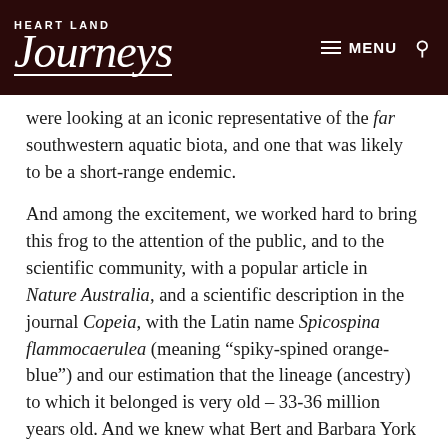Heart Land Journeys — MENU
were looking at an iconic representative of the far southwestern aquatic biota, and one that was likely to be a short-range endemic.
And among the excitement, we worked hard to bring this frog to the attention of the public, and to the scientific community, with a popular article in Nature Australia, and a scientific description in the journal Copeia, with the Latin name Spicospina flammocaerulea (meaning “spiky-spined orange-blue”) and our estimation that the lineage (ancestry) to which it belonged is very old – 33-36 million years old. And we knew what Bert and Barbara York Main meant about refuges for relictual species – the peatlands where the sunset frog was found have a